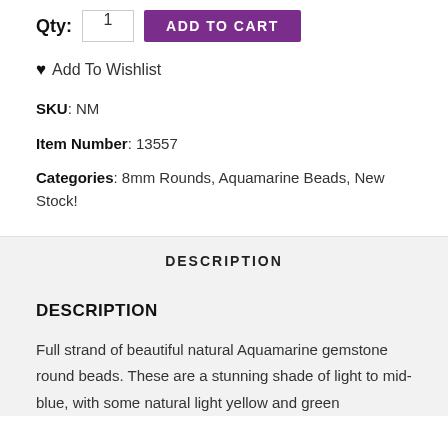Qty: 1  ADD TO CART
♥ Add To Wishlist
SKU: NM
Item Number: 13557
Categories: 8mm Rounds, Aquamarine Beads, New Stock!
DESCRIPTION
DESCRIPTION
Full strand of beautiful natural Aquamarine gemstone round beads. These are a stunning shade of light to mid-blue, with some natural light yellow and green